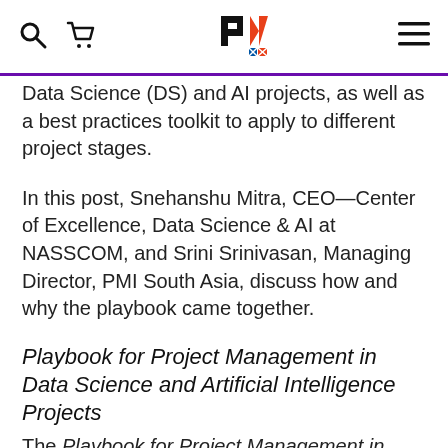[PMI logo, search icon, cart icon, hamburger menu]
Data Science (DS) and AI projects, as well as a best practices toolkit to apply to different project stages.
In this post, Snehanshu Mitra, CEO—Center of Excellence, Data Science & AI at NASSCOM, and Srini Srinivasan, Managing Director, PMI South Asia, discuss how and why the playbook came together.
Playbook for Project Management in Data Science and Artificial Intelligence Projects
The Playbook for Project Management in Data Science and Artificial Intelligence Projects presents a framework that recommends resources that